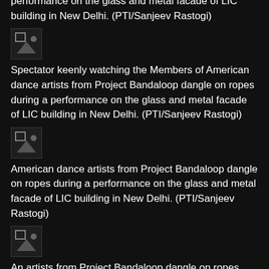performance on the glass and metal facade of LIC building in New Delhi. (PTI/Sanjeev Rastogi)
[Figure (photo): Broken image placeholder thumbnail]
Spectator keenly watching the Members of American dance artists from Project Bandaloop dangle on ropes during a performance on the glass and metal facade of LIC building in New Delhi. (PTI/Sanjeev Rastogi)
[Figure (photo): Broken image placeholder thumbnail]
American dance artists from Project Bandaloop dangle on ropes during a performance on the glass and metal facade of LIC building in New Delhi. (PTI/Sanjeev Rastogi)
[Figure (photo): Broken image placeholder thumbnail]
An artists from Project Bandaloop dangle on ropes during a performance on the glass and metal facade of LIC building in New Delhi (PTI/Sanjeev Rastogi)
[Figure (photo): Broken image placeholder thumbnail]
American dance artists from Project Bandaloop dangle on